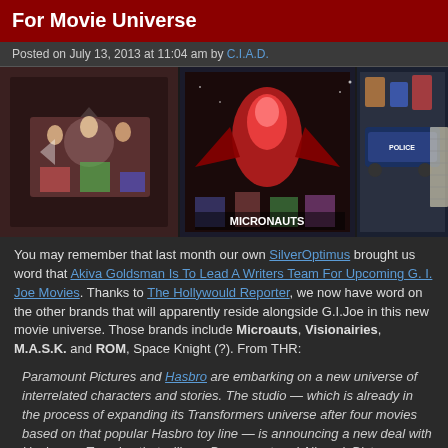For Movie Universe
Posted on July 13, 2013 at 11:04 am by C.I.A.D.
[Figure (photo): Three comic/toy images side by side: X-Men style comic art, Micronauts comic cover, and M.A.S.K. toy image]
You may remember that last month our own SilverOptimus brought us word that Akiva Goldsman Is To Lead A Writers Team For Upcoming G. I. Joe Movies. Thanks to The Hollywould Reporter, we now have word on the other brands that will apparently reside alongside G.I.Joe in this new movie universe. Those brands include Microauts, Visionairies, M.A.S.K. and ROM, Space Knight (?). From THR:
Paramount Pictures and Hasbro are embarking on a new universe of interrelated characters and stories. The studio — which is already in the process of expanding its Transformers universe after four movies based on that popular Hasbro toy line — is announcing a new deal with Hasbro on Tuesday that will see Paramount and Allspark Pictures, Hasbro's film label, build an interconnected, cross-property onscreen universe, featuring characters from five of Hasbro's other brands: G.I. Joe, Micronauts, Visionairies, M.A.S.K. (Mobile Armored